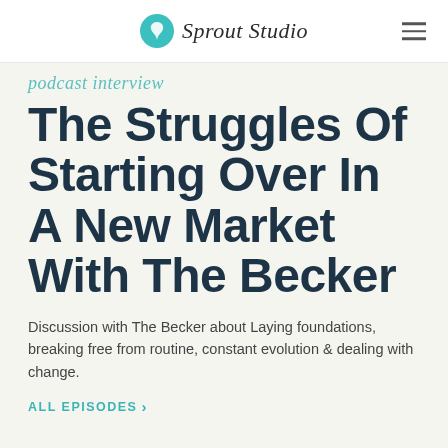Sprout Studio
podcast interview
The Struggles Of Starting Over In A New Market With The Becker
Discussion with The Becker about Laying foundations, breaking free from routine, constant evolution & dealing with change.
ALL EPISODES >